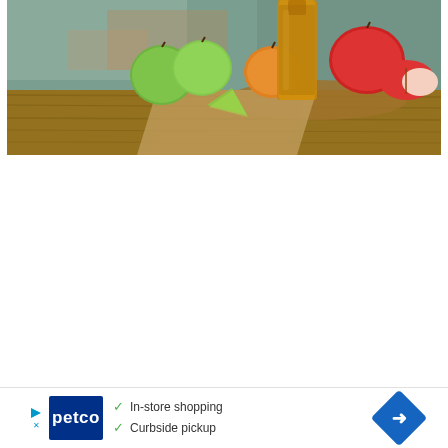[Figure (photo): Photo of apple cider vinegar bottle with green and red apples on a wooden table with burlap cloth, rustic background]
[Figure (other): Petco advertisement banner with In-store shopping and Curbside pickup checkmarks, navigation arrow icon]